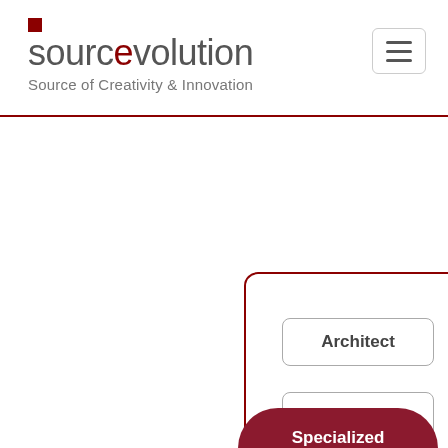[Figure (logo): Sourcevolution logo with red square accent, text 'sourcevolution' with 'e' in red, and tagline 'Source of Creativity & Innovation']
[Figure (infographic): Interactive web UI showing CRM circle, pill buttons (Specialized Software, Business area, Open Source), and right panel with role buttons (Architect, Infrastructure, Developer)]